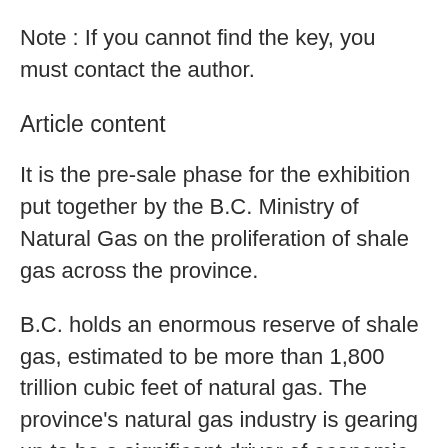Note : If you cannot find the key, you must contact the author.
Article content
It is the pre-sale phase for the exhibition put together by the B.C. Ministry of Natural Gas on the proliferation of shale gas across the province.
B.C. holds an enormous reserve of shale gas, estimated to be more than 1,800 trillion cubic feet of natural gas. The province's natural gas industry is gearing up to be a significant driver of economic growth and job creation in the province.
We apologize, but this video has failed to